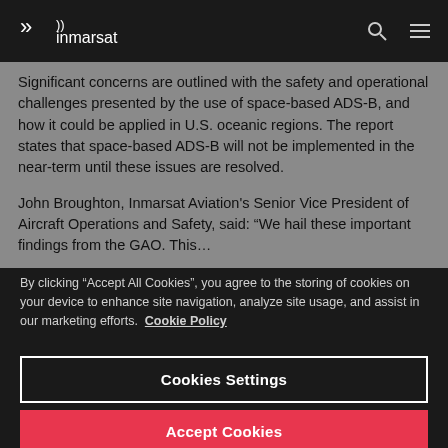inmarsat
Significant concerns are outlined with the safety and operational challenges presented by the use of space-based ADS-B, and how it could be applied in U.S. oceanic regions. The report states that space-based ADS-B will not be implemented in the near-term until these issues are resolved.
John Broughton, Inmarsat Aviation's Senior Vice President of Aircraft Operations and Safety, said: “We hail these important findings from the GAO. This...
By clicking “Accept All Cookies”, you agree to the storing of cookies on your device to enhance site navigation, analyze site usage, and assist in our marketing efforts. Cookie Policy
Cookies Settings
Accept Cookies